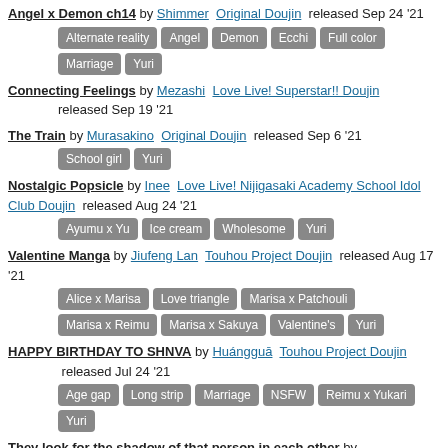Angel x Demon ch14 by Shimmer Original Doujin released Sep 24 '21 [Alternate reality] [Angel] [Demon] [Ecchi] [Full color] [Marriage] [Yuri]
Connecting Feelings by Mezashi Love Live! Superstar!! Doujin released Sep 19 '21
The Train by Murasakino Original Doujin released Sep 6 '21 [School girl] [Yuri]
Nostalgic Popsicle by Inee Love Live! Nijigasaki Academy School Idol Club Doujin released Aug 24 '21 [Ayumu x Yu] [Ice cream] [Wholesome] [Yuri]
Valentine Manga by Jiufeng Lan Touhou Project Doujin released Aug 17 '21 [Alice x Marisa] [Love triangle] [Marisa x Patchouli] [Marisa x Reimu] [Marisa x Sakuya] [Valentine's] [Yuri]
HAPPY BIRTHDAY TO SHNVA by Huángguā Touhou Project Doujin released Jul 24 '21 [Age gap] [Long strip] [Marriage] [NSFW] [Reimu x Yukari] [Yuri]
They look for the shadow of that person in each other by Moyu Marginal Arknights Doujin released Jul 1 '21 [Full color] [Kal'tsit x W] [Yuri]
Angel x Demon ch13.3 by Shimmer Original Doujin released Jul 1 '21 [Angel] [Demon] [Ecchi] [Full color] [Tailsex] [Yuri]
Indirect Kiss by Inee Uma Musume: Pretty Derby Doujin released